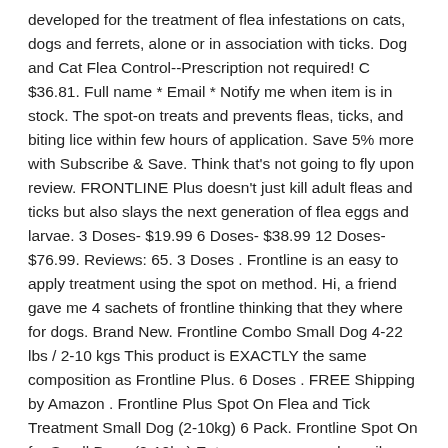developed for the treatment of flea infestations on cats, dogs and ferrets, alone or in association with ticks. Dog and Cat Flea Control--Prescription not required! C $36.81. Full name * Email * Notify me when item is in stock. The spot-on treats and prevents fleas, ticks, and biting lice within few hours of application. Save 5% more with Subscribe & Save. Think that's not going to fly upon review. FRONTLINE Plus doesn't just kill adult fleas and ticks but also slays the next generation of flea eggs and larvae. 3 Doses- $19.99 6 Doses- $38.99 12 Doses- $76.99. Reviews: 65. 3 Doses . Frontline is an easy to apply treatment using the spot on method. Hi, a friend gave me 4 sachets of frontline thinking that they where for dogs. Brand New. Frontline Combo Small Dog 4-22 lbs / 2-10 kgs This product is EXACTLY the same composition as Frontline Plus. 6 Doses . FREE Shipping by Amazon . Frontline Plus Spot On Flea and Tick Treatment Small Dog (2-10kg) 6 Pack. Frontline Spot On for Small Dogs (2-10kg) Enter your name and email address below then select which items you would like to be notified of when available. Save 10% more with Subscribe & Save. Brand New. Frontline Plus is a quick, convenient, and effective way to prevent fleas, ticks, chewing lice, and sarcoptic mites from making your dog a walking resort. Free postage. Is sensitive to these products is an effective flea and Tick treatment